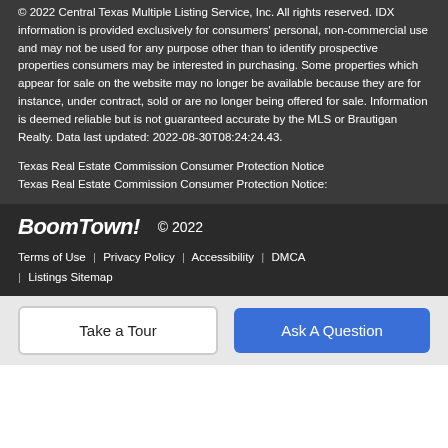© 2022 Central Texas Multiple Listing Service, Inc. All rights reserved. IDX information is provided exclusively for consumers' personal, non-commercial use and may not be used for any purpose other than to identify prospective properties consumers may be interested in purchasing. Some properties which appear for sale on the website may no longer be available because they are for instance, under contract, sold or are no longer being offered for sale. Information is deemed reliable but is not guaranteed accurate by the MLS or Brautigan Realty. Data last updated: 2022-08-30T08:24:24.43.
Texas Real Estate Commission Consumer Protection Notice
Texas Real Estate Commission Consumer Protection Notice:
BoomTown!  © 2022
Terms of Use | Privacy Policy | Accessibility | DMCA | Listings Sitemap
Take a Tour
Ask A Question